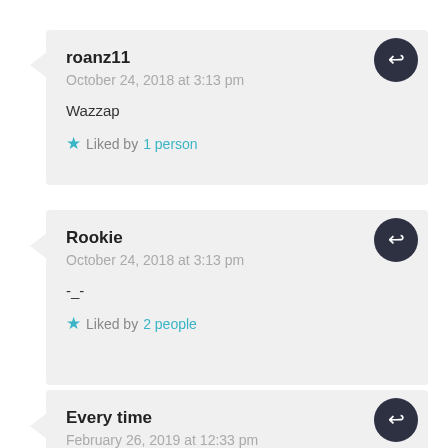roanz11
October 24, 2018 at 3:13 pm

Wazzap

★ Liked by 1 person
Rookie
October 24, 2018 at 3:13 pm

-_-

★ Liked by 2 people
Every time
February 26, 2019 at 12:33 pm